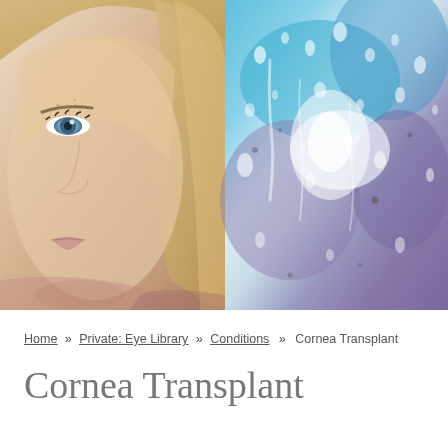[Figure (photo): Composite photo: left half shows a young woman's face (blonde hair, blue-grey eyes, fair skin, looking directly at camera); right half shows a blurry colorful background seen through a wet glass window with water droplets and streaks in blue, purple, and white tones.]
Home » Private: Eye Library » Conditions » Cornea Transplant
Cornea Transplant